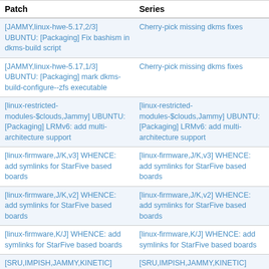| Patch | Series |
| --- | --- |
| [JAMMY,linux-hwe-5.17,2/3] UBUNTU: [Packaging] Fix bashism in dkms-build script | Cherry-pick missing dkms fixes |
| [JAMMY,linux-hwe-5.17,1/3] UBUNTU: [Packaging] mark dkms-build-configure--zfs executable | Cherry-pick missing dkms fixes |
| [linux-restricted-modules-$clouds,Jammy] UBUNTU: [Packaging] LRMv6: add multi-architecture support | [linux-restricted-modules-$clouds,Jammy] UBUNTU: [Packaging] LRMv6: add multi-architecture support |
| [linux-firmware,J/K,v3] WHENCE: add symlinks for StarFive based boards | [linux-firmware,J/K,v3] WHENCE: add symlinks for StarFive based boards |
| [linux-firmware,J/K,v2] WHENCE: add symlinks for StarFive based boards | [linux-firmware,J/K,v2] WHENCE: add symlinks for StarFive based boards |
| [linux-firmware,K/J] WHENCE: add symlinks for StarFive based boards | [linux-firmware,K/J] WHENCE: add symlinks for StarFive based boards |
| [SRU,IMPISH,JAMMY,KINETIC] | [SRU,IMPISH,JAMMY,KINETIC] |